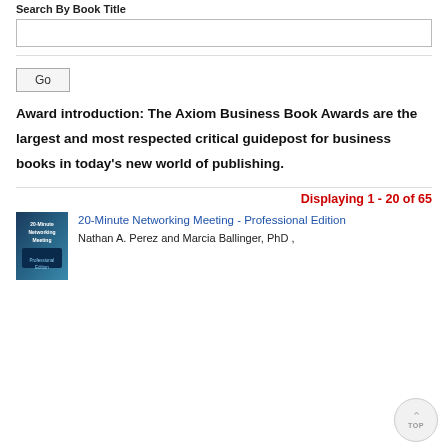Search By Book Title
[search input box]
Go
Award introduction: The Axiom Business Book Awards are the largest and most respected critical guidepost for business books in today's new world of publishing.
Displaying 1 - 20 of 65
20-Minute Networking Meeting - Professional Edition
Nathan A. Perez and Marcia Ballinger, PhD ,